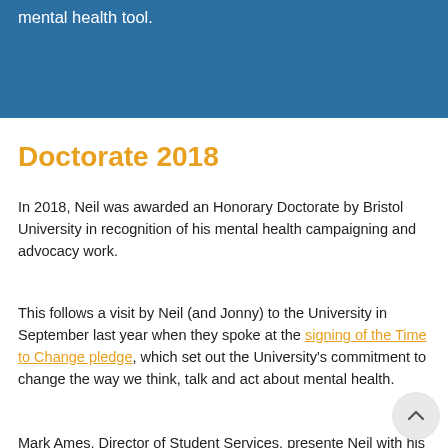mental health tool.
Doctorate 2018
In 2018, Neil was awarded an Honorary Doctorate by Bristol University in recognition of his mental health campaigning and advocacy work.
This follows a visit by Neil (and Jonny) to the University in September last year when they spoke at the signing of the Time to Change pledge, which set out the University's commitment to change the way we think, talk and act about mental health.
Mark Ames, Director of Student Services, presente Neil with his honorary degree in the Great Hall of the Wills Memorial Building.